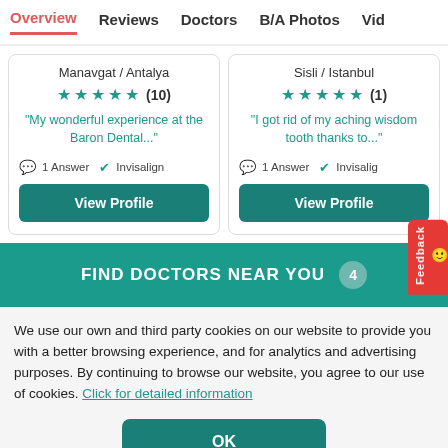Overview  Reviews  Doctors  B/A Photos  Vid
Manavgat / Antalya
★★★★★ (10)
"My wonderful experience at the Baron Dental..."
1 Answer  Invisalign
Sisli / Istanbul
★★★★★ (1)
"I got rid of my aching wisdom tooth thanks to..."
1 Answer  Invisalign
FIND DOCTORS NEAR YOU  4
We use our own and third party cookies on our website to provide you with a better browsing experience, and for analytics and advertising purposes. By continuing to browse our website, you agree to our use of cookies. Click for detailed information
OK